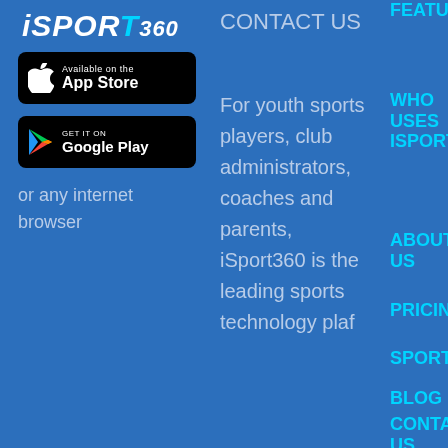[Figure (logo): iSport360 logo in white italic text on blue background]
[Figure (screenshot): Available on the App Store button (black rounded rectangle with Apple logo)]
[Figure (screenshot): Get it on Google Play button (black rounded rectangle with Google Play logo)]
or any internet browser
CONTACT US
For youth sports players, club administrators, coaches and parents, iSport360 is the leading sports technology plaf...
FEATURES
WHO USES ISPORT360?
ABOUT US
PRICING
SPORTS
BLOG
CONTACT US